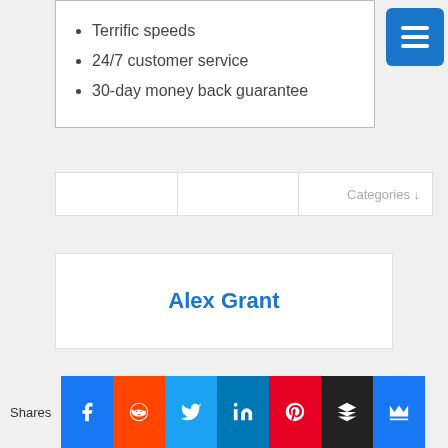Terrific speeds
24/7 customer service
30-day money back guarantee
Categories ↓
Alex Grant
Shares